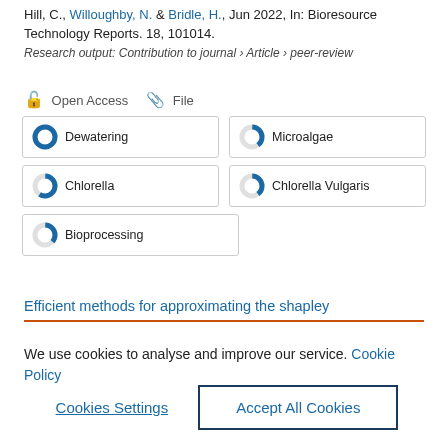Hill, C., Willoughby, N. & Bridle, H., Jun 2022, In: Bioresource Technology Reports. 18, 101014.
Research output: Contribution to journal › Article › peer-review
Open Access  File
Dewatering
Microalgae
Chlorella
Chlorella Vulgaris
Bioprocessing
Efficient methods for approximating the shapley
We use cookies to analyse and improve our service. Cookie Policy
Cookies Settings    Accept All Cookies